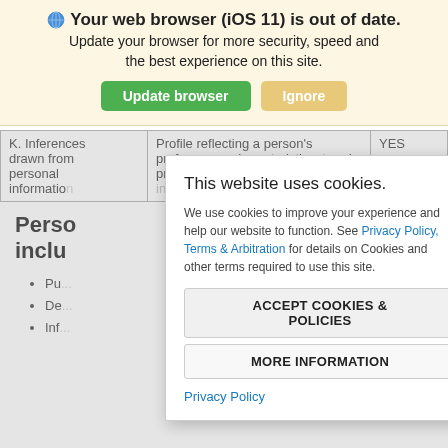[Figure (screenshot): Browser update banner with globe icon, bold title 'Your web browser (iOS 11) is out of date.', subtitle text, and two buttons: 'Update browser' (green) and 'Ignore' (tan/orange).]
| K. Inferences drawn from personal information | Profile reflecting a person's preferences, characteristics, trends, predispositions, behavior, attitudes, intelligence, abilities, and aptitudes | YES |
| --- | --- | --- |
Perso
inclu
Pu
De
Inf
ealth 996 ical
[Figure (screenshot): Cookie consent modal dialog with close button (×), title 'This website uses cookies.', body text explaining cookie usage with a link to 'Privacy Policy, Terms & Arbitration', two buttons 'ACCEPT COOKIES & POLICIES' and 'MORE INFORMATION', and a 'Privacy Policy' link at the bottom.]